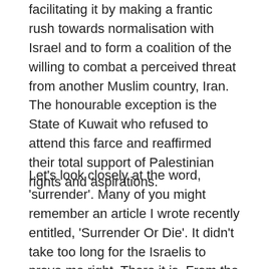facilitating it by making a frantic rush towards normalisation with Israel and to form a coalition of the willing to combat a perceived threat from another Muslim country, Iran. The honourable exception is the State of Kuwait who refused to attend this farce and reaffirmed their total support of Palestinian rights and aspirations.
Let's look closely at the word, 'surrender'. Many of you might remember an article I wrote recently entitled, 'Surrender Or Die'. It didn't take too long for the Israelis to prove me right. There it is. From the Grand weasel's mouth, none other than Danny Danon, the Israeli Ambassador to the UN. In an article entitled, 'What's Wrong With Palestinian Surrender", published in the New York Times on June 24th,